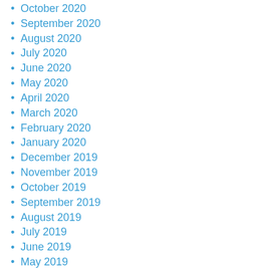October 2020
September 2020
August 2020
July 2020
June 2020
May 2020
April 2020
March 2020
February 2020
January 2020
December 2019
November 2019
October 2019
September 2019
August 2019
July 2019
June 2019
May 2019
April 2019
March 2019
February 2019
January 2019
December 2018